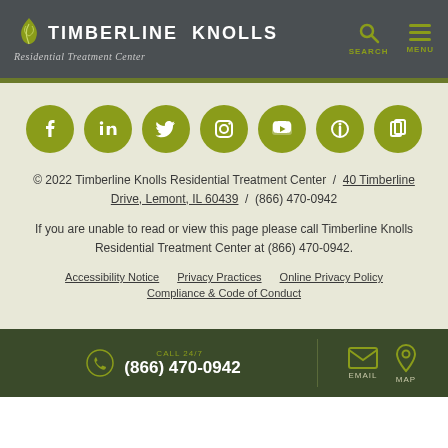[Figure (logo): Timberline Knolls Residential Treatment Center logo with leaf icon in dark gray header]
[Figure (infographic): Row of 7 olive-green social media icon circles: Facebook, LinkedIn, Twitter, Instagram, YouTube, Info/RSS, and another icon]
© 2022 Timberline Knolls Residential Treatment Center / 40 Timberline Drive, Lemont, IL 60439 / (866) 470-0942
If you are unable to read or view this page please call Timberline Knolls Residential Treatment Center at (866) 470-0942.
Accessibility Notice   Privacy Practices   Online Privacy Policy   Compliance & Code of Conduct
CALL 24/7  (866) 470-0942   EMAIL   MAP